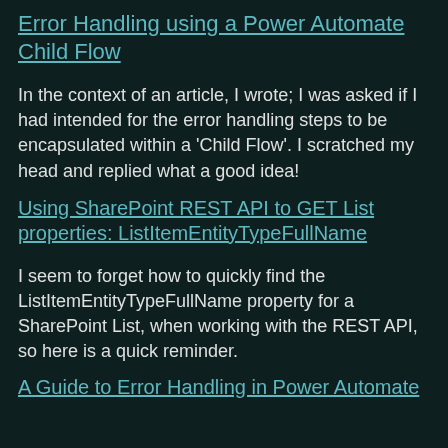Error Handling using a Power Automate Child Flow
In the context of an article, I wrote; I was asked if I had intended for the error handling steps to be encapsulated within a 'Child Flow'. I scratched my head and replied what a good idea!
Using SharePoint REST API to GET List properties: ListItemEntityTypeFullName
I seem to forget how to quickly find the ListItemEntityTypeFullName property for a SharePoint List, when working with the REST API, so here is a quick reminder.
A Guide to Error Handling in Power Automate